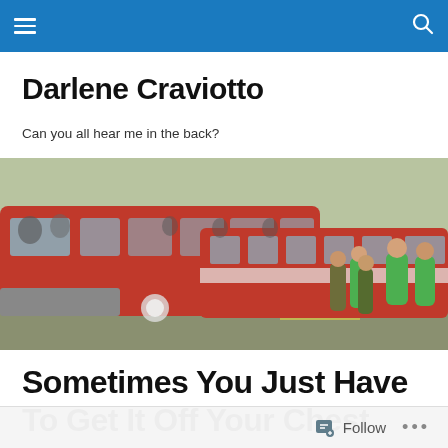Navigation bar with hamburger menu and search icon
Darlene Craviotto
Can you all hear me in the back?
[Figure (photo): Vintage color photograph of a red bus or tram vehicle at a station with people standing around it, including a person in a green outfit on the right side.]
Sometimes You Just Have To Get It Off Your Chest
Follow   ...